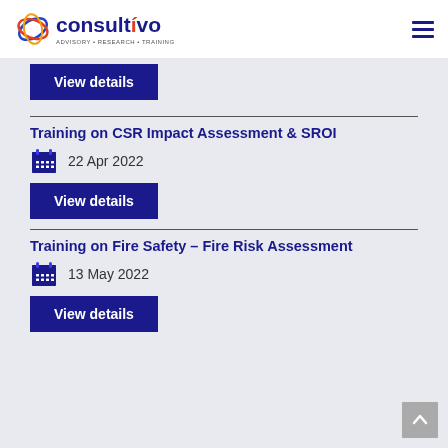consultivo ADVISORY • RESEARCH • TRAINING
View details
Training on CSR Impact Assessment & SROI
22 Apr 2022
View details
Training on Fire Safety – Fire Risk Assessment
13 May 2022
View details